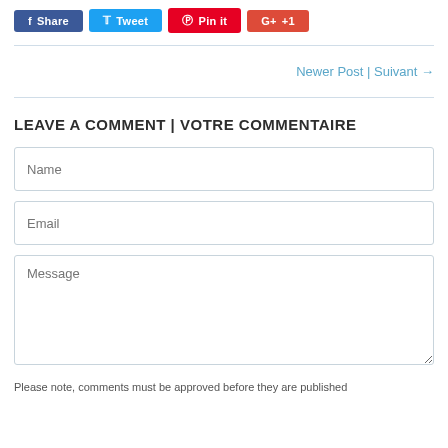[Figure (other): Social share buttons: Facebook Share, Twitter Tweet, Pinterest Pin it, Google+ +1]
Newer Post | Suivant →
LEAVE A COMMENT | VOTRE COMMENTAIRE
Name
Email
Message
Please note, comments must be approved before they are published